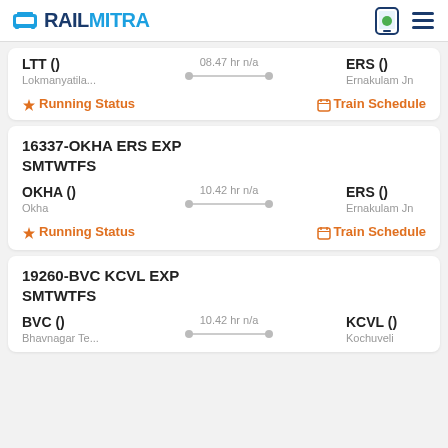RAILMITRA
LTT () 08.47 hr n/a ERS () Lokmanyatila... Ernakulam Jn
Running Status   Train Schedule
16337-OKHA ERS EXP SMTWTFS
OKHA () 10.42 hr n/a ERS () Okha Ernakulam Jn
Running Status   Train Schedule
19260-BVC KCVL EXP SMTWTFS
BVC () 10.42 hr n/a KCVL () Bhavnagar Te... Kochuveli